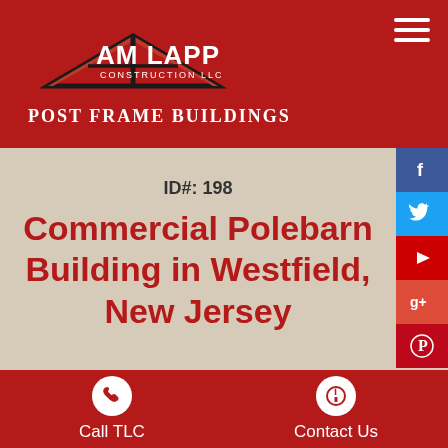[Figure (logo): Tam Lapp Construction LLC logo with house roofline graphic and text 'POST FRAME BUILDINGS']
ID#: 198
Commercial Polebarn Building in Westfield, New Jersey
[Figure (infographic): Social media sidebar buttons: Facebook, Twitter, YouTube, Google+, Pinterest]
Call TLC
Contact Us